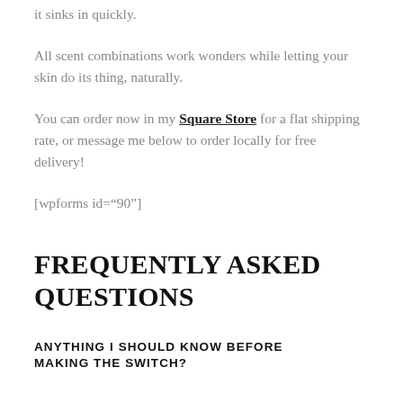it sinks in quickly.
All scent combinations work wonders while letting your skin do its thing, naturally.
You can order now in my Square Store for a flat shipping rate, or message me below to order locally for free delivery!
[wpforms id="90"]
FREQUENTLY ASKED QUESTIONS
ANYTHING I SHOULD KNOW BEFORE MAKING THE SWITCH?